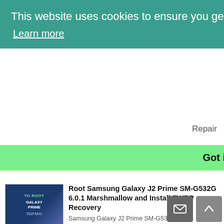This website uses cookies to ensure you get the best experience on our website. Learn more
Got it!
Repair
Root Samsung Galaxy J2 Prime SM-G532G 6.0.1 Marshmallow and Install TWRP Recovery
Samsung Galaxy J2 Prime SM-G532G 6.0.1 Marshmallow is one of the Mid-Level Mobiles of Samsung.It comes with the Marshmallow Ver...
Samsung galaxy J2 Prime G532G repair firmware "an error has occured ...."
Samsung Galaxy J2 Prime an error has occured while updating FIX An error has occured while updating the device software, FIXE Samsung Gal...
Google Account Manager 8-9 GAM Download APK
Download the latest version of the Google Account Manager